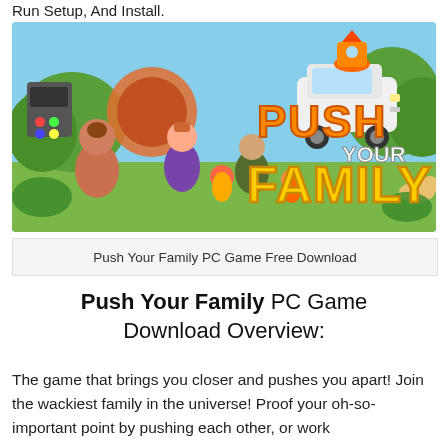Run Setup, And Install.
[Figure (illustration): Colorful video game cover art for 'Push Your Family' showing cartoon family characters being pushed around in a sunny outdoor scene, with bold orange and yellow 3D text reading 'PUSH YOUR FAMILY' on the right side. A white SUV with a rocket on top is visible. Various animated characters including adults and children are shown in playful poses.]
Push Your Family PC Game Free Download
Push Your Family PC Game Download Overview:
The game that brings you closer and pushes you apart! Join the wackiest family in the universe! Proof your oh-so-important point by pushing each other, or work